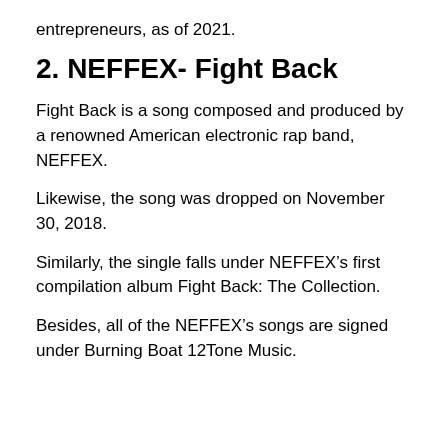entrepreneurs, as of 2021.
2. NEFFEX- Fight Back
Fight Back is a song composed and produced by a renowned American electronic rap band, NEFFEX.
Likewise, the song was dropped on November 30, 2018.
Similarly, the single falls under NEFFEX’s first compilation album Fight Back: The Collection.
Besides, all of the NEFFEX’s songs are signed under Burning Boat 12Tone Music.